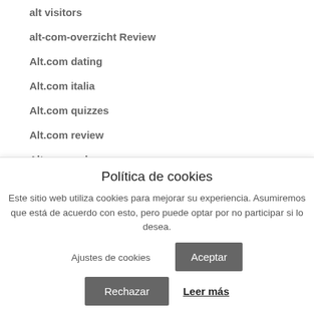alt visitors
alt-com-overzicht Review
Alt.com dating
Alt.com italia
Alt.com quizzes
Alt.com review
Alt.com web
altcom de reviews
alterslucke-dating-sites kosten
Política de cookies
Este sitio web utiliza cookies para mejorar su experiencia. Asumiremos que está de acuerdo con esto, pero puede optar por no participar si lo desea.
Ajustes de cookies
Aceptar
Rechazar
Leer más